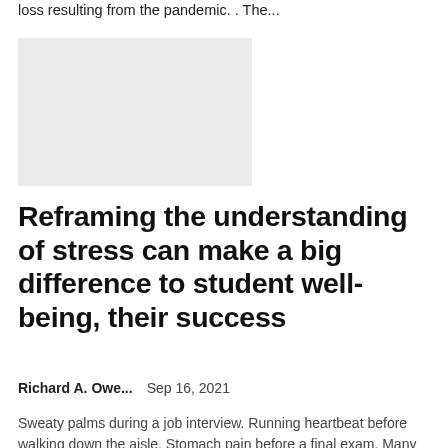loss resulting from the pandemic. . The...
[Figure (photo): Gray placeholder image for an article thumbnail]
Reframing the understanding of stress can make a big difference to student well-being, their success
Richard A. Owe...   Sep 16, 2021
Sweaty palms during a job interview. Running heartbeat before walking down the aisle. Stomach pain before a final exam. Many of